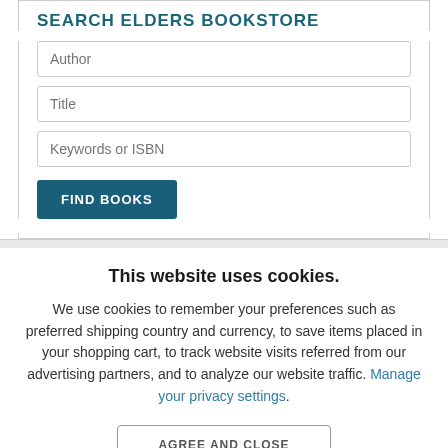SEARCH ELDERS BOOKSTORE
Author
Title
Keywords or ISBN
FIND BOOKS
This website uses cookies.
We use cookies to remember your preferences such as preferred shipping country and currency, to save items placed in your shopping cart, to track website visits referred from our advertising partners, and to analyze our website traffic. Manage your privacy settings.
AGREE AND CLOSE